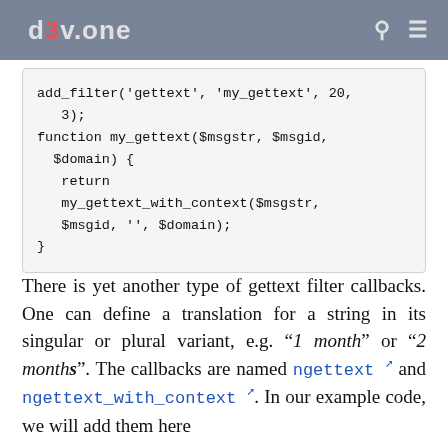d3v.one
[Figure (screenshot): Code block showing PHP add_filter and my_gettext function with return my_gettext_with_context call]
There is yet another type of gettext filter callbacks. One can define a translation for a string in its singular or plural variant, e.g. “1 month” or “2 months”. The callbacks are named ngettext and ngettext_with_context. In our example code, we will add them here